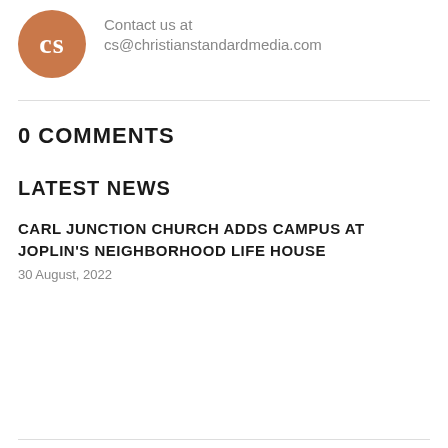[Figure (logo): Circular brown/orange logo with white 'cs' letters inside]
Contact us at cs@christianstandardmedia.com
0 COMMENTS
LATEST NEWS
CARL JUNCTION CHURCH ADDS CAMPUS AT JOPLIN'S NEIGHBORHOOD LIFE HOUSE
30 August, 2022